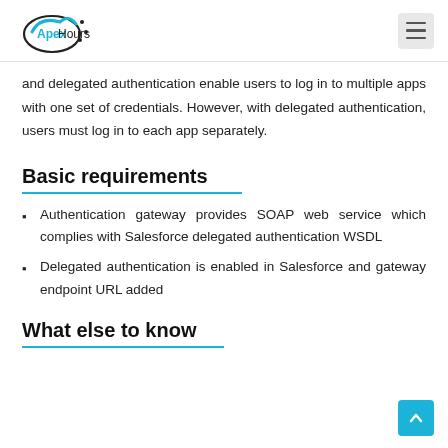Apex Hours
and delegated authentication enable users to log in to multiple apps with one set of credentials. However, with delegated authentication, users must log in to each app separately.
Basic requirements
Authentication gateway provides SOAP web service which complies with Salesforce delegated authentication WSDL
Delegated authentication is enabled in Salesforce and gateway endpoint URL added
What else to know